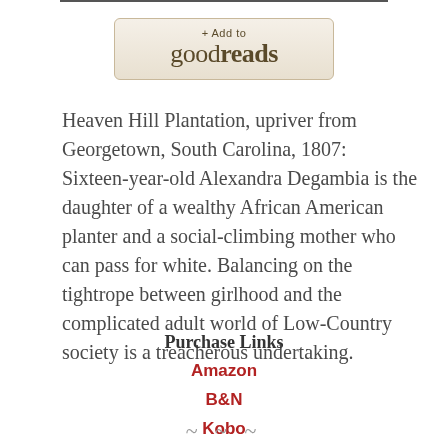[Figure (logo): Goodreads '+Add to goodreads' button with beige/tan background and rounded corners]
Heaven Hill Plantation, upriver from Georgetown, South Carolina, 1807: Sixteen-year-old Alexandra Degambia is the daughter of a wealthy African American planter and a social-climbing mother who can pass for white. Balancing on the tightrope between girlhood and the complicated adult world of Low-Country society is a treacherous undertaking.
Purchase Links
Amazon
B&N
Kobo
~ ~ ~